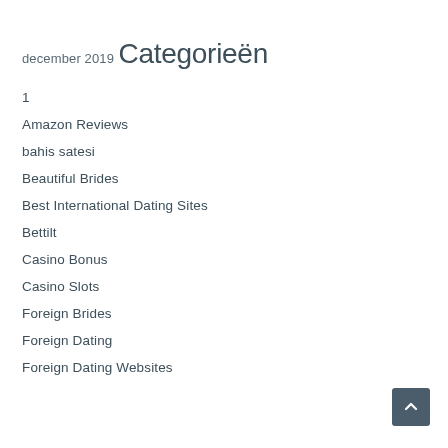december 2019
Categorieën
1
Amazon Reviews
bahis satesi
Beautiful Brides
Best International Dating Sites
Bettilt
Casino Bonus
Casino Slots
Foreign Brides
Foreign Dating
Foreign Dating Websites